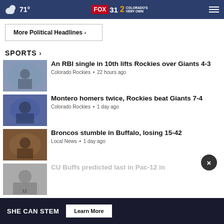71° FOX 31 2 COLORADO'S VERY OWN
More Political Headlines ›
SPORTS ›
[Figure (photo): Baseball pitcher throwing]
An RBI single in 10th lifts Rockies over Giants 4-3
Colorado Rockies • 22 hours ago
[Figure (photo): Baseball player celebrating]
Montero homers twice, Rockies beat Giants 7-4
Colorado Rockies • 1 day ago
[Figure (photo): Football players in game action]
Broncos stumble in Buffalo, losing 15-42
Local News • 1 day ago
[Figure (photo): CU Buffs player]
CU Buffs predicted last in Pac-12 in
SHE CAN STEM   Learn More